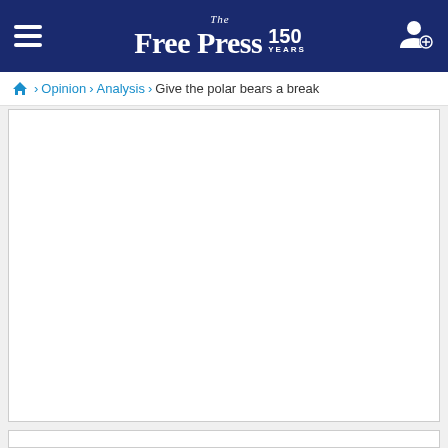The Free Press 150 YEARS
Home > Opinion > Analysis > Give the polar bears a break
[Figure (other): Large white advertisement/content placeholder box with a thin grey border]
[Figure (other): Second white advertisement/content placeholder box with a thin grey border, partially visible at the bottom]